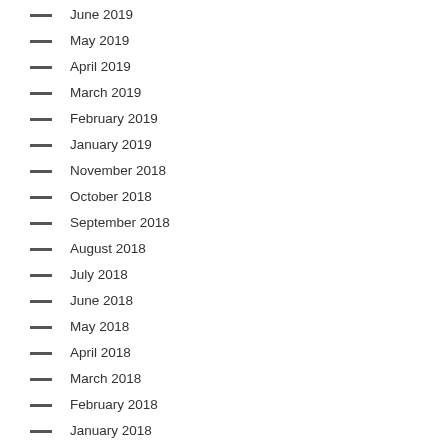June 2019
May 2019
April 2019
March 2019
February 2019
January 2019
November 2018
October 2018
September 2018
August 2018
July 2018
June 2018
May 2018
April 2018
March 2018
February 2018
January 2018